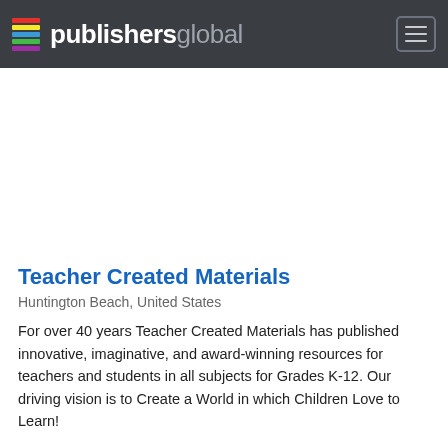publishersglobal
Teacher Created Materials
Huntington Beach, United States
For over 40 years Teacher Created Materials has published innovative, imaginative, and award-winning resources for teachers and students in all subjects for Grades K-12. Our driving vision is to Create a World in which Children Love to Learn!